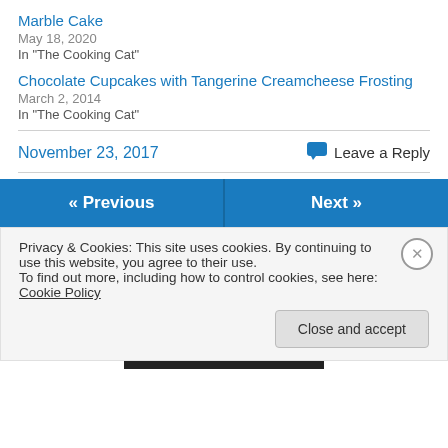Marble Cake
May 18, 2020
In "The Cooking Cat"
Chocolate Cupcakes with Tangerine Creamcheese Frosting
March 2, 2014
In "The Cooking Cat"
November 23, 2017
Leave a Reply
« Previous
Next »
Privacy & Cookies: This site uses cookies. By continuing to use this website, you agree to their use.
To find out more, including how to control cookies, see here: Cookie Policy
Close and accept